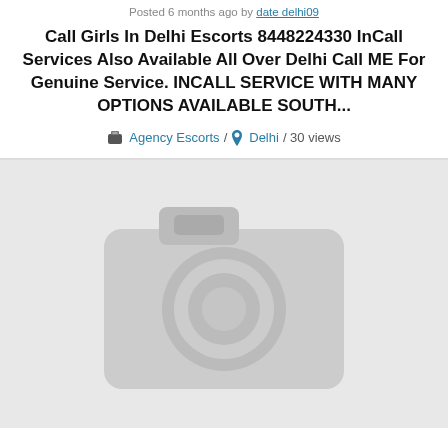Posted 6 months ago by date delhi09
Call Girls In Delhi Escorts 8448224330 InCall Services Also Available All Over Delhi Call ME For Genuine Service. INCALL SERVICE WITH MANY OPTIONS AVAILABLE SOUTH...
Agency Escorts / Delhi / 30 views
[Figure (illustration): Gray camera placeholder icon on light gray background, indicating no photo available]